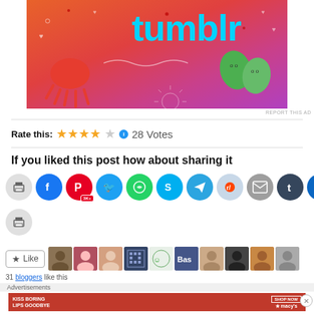[Figure (illustration): Tumblr advertisement banner with colorful orange/pink gradient background, cartoon octopus, leaf characters, and 'tumblr' text.]
REPORT THIS AD
Rate this: ★★★★☆  28 Votes
If you liked this post how about sharing it
[Figure (infographic): Row of social sharing icon circles: print, Facebook, Pinterest (3K+), Twitter, WhatsApp, Skype, Telegram, Reddit, Email, Tumblr, LinkedIn, then print again on second row.]
[Figure (infographic): Like button and strip of blogger avatar thumbnails showing 31 bloggers like this post.]
31 bloggers like this
Advertisements
[Figure (photo): Macy's advertisement: KISS BORING LIPS GOODBYE with woman's face showing red lips, SHOP NOW button and Macy's star logo.]